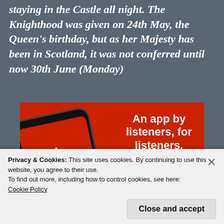staying in the Castle all night. The Knighthood was given on 24th May, the Queen's birthday, but as her Majesty has been in Scotland, it was not conferred until now 30th June (Monday)
[Figure (screenshot): Advertisement for a podcast app showing a smartphone with 'Distributed' podcast art on screen, red background, text 'An app by listeners, for listeners.' with a 'Download now' button]
Privacy & Cookies: This site uses cookies. By continuing to use this website, you agree to their use.
To find out more, including how to control cookies, see here: Cookie Policy
Close and accept